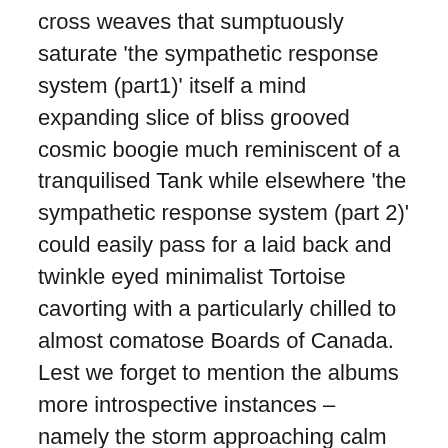cross weaves that sumptuously saturate 'the sympathetic response system (part1)' itself a mind expanding slice of bliss grooved cosmic boogie much reminiscent of a tranquilised Tank while elsewhere 'the sympathetic response system (part 2)' could easily pass for a laid back and twinkle eyed minimalist Tortoise cavorting with a particularly chilled to almost comatose Boards of Canada. Lest we forget to mention the albums more introspective instances – namely the storm approaching calm of 'cloud cover (part 2)' dutifully graced by a frosted elegance and the kind of tear evoking stillness more commonly encountered these days on releases bearing the name Inch Time on their hide, that said get through this cut without being struck by an overpowering sense of hollowed awe and you're a better man than me. There is of course its other half to contend with via the storm